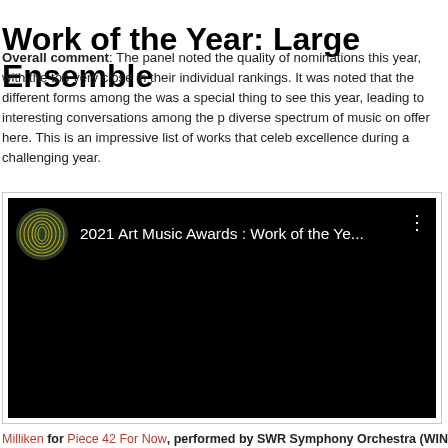Work of the Year: Large Ensemble
Overall comment: The panel noted the quality of nominations this year, with the top very close in their individual rankings. It was noted that the different forms among the was a special thing to see this year, leading to interesting conversations among the p diverse spectrum of music on offer here. This is an impressive list of works that celeb excellence during a challenging year.
[Figure (screenshot): YouTube video player showing '2021 Art Music Awards : Work of the Ye...' with a dark background and AMC logo thumbnail]
Milliken for Piece 42 For Now, performed by SWR Symphony Orchestra (WINNE